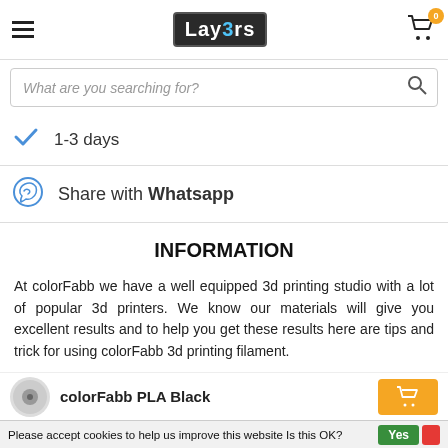[Figure (logo): Lay3rs logo in dark box with blue '3']
What are you searching for?
1-3 days
Share with Whatsapp
INFORMATION
At colorFabb we have a well equipped 3d printing studio with a lot of popular 3d printers. We know our materials will give you excellent results and to help you get these results here are tips and trick for using colorFabb 3d printing filament.
colorFabb PLA Black
Please accept cookies to help us improve this website Is this OK?